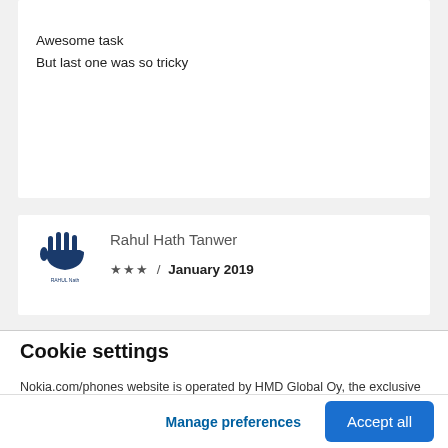Awesome task
But last one was so tricky
[Figure (other): User avatar: hand/palm logo for Rahul Nath brand]
Rahul Hath Tanwer
★★★ / January 2019
Cookie settings
Nokia.com/phones website is operated by HMD Global Oy, the exclusive licensee of the Nokia brand for phones and tablets. We use cookies and similar technologies to improve and personalize your experience and to display ads. By clicking "Accept all", you agree to the use of cookies and similar technologies. You can change your settings at any time by selecting "Cookie Settings" at the bottom of the site. Learn more about our cookie
Manage preferences
Accept all